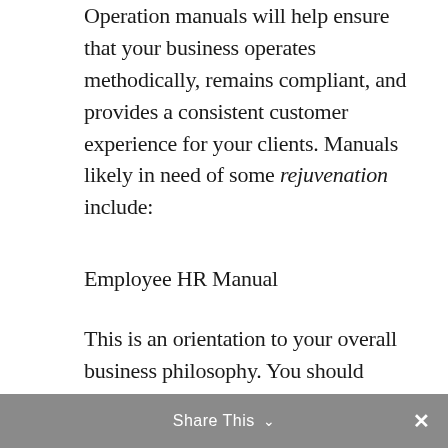Operation manuals will help ensure that your business operates methodically, remains compliant, and provides a consistent customer experience for your clients. Manuals likely in need of some rejuvenation include:
Employee HR Manual
This is an orientation to your overall business philosophy. You should include your Mission, Vision, and Core Values as well as information about your culture and brand. Of course this manual should include policies regarding time off, annual reviews, benefits, corrective action, etc. However,
Share This ∨  ×